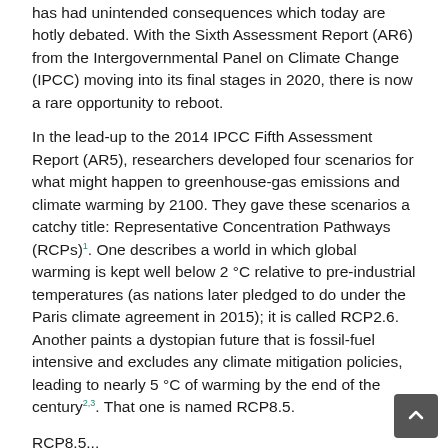has had unintended consequences which today are hotly debated. With the Sixth Assessment Report (AR6) from the Intergovernmental Panel on Climate Change (IPCC) moving into its final stages in 2020, there is now a rare opportunity to reboot.
In the lead-up to the 2014 IPCC Fifth Assessment Report (AR5), researchers developed four scenarios for what might happen to greenhouse-gas emissions and climate warming by 2100. They gave these scenarios a catchy title: Representative Concentration Pathways (RCPs)1. One describes a world in which global warming is kept well below 2 °C relative to pre-industrial temperatures (as nations later pledged to do under the Paris climate agreement in 2015); it is called RCP2.6. Another paints a dystopian future that is fossil-fuel intensive and excludes any climate mitigation policies, leading to nearly 5 °C of warming by the end of the century2,3. That one is named RCP8.5.
RCP8.5...